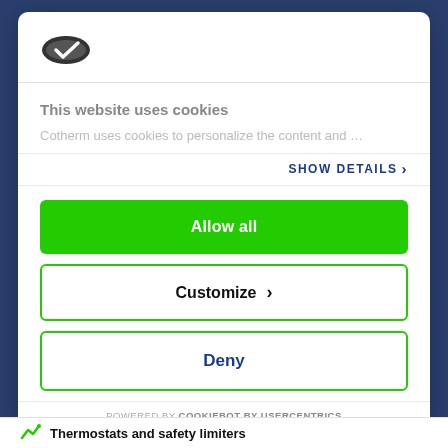[Figure (logo): Cookiebot logo — dark oval cookie shape with checkmark]
This website uses cookies
Cotherm uses cookies to personalize the content and …
SHOW DETAILS ›
Allow all
Customize ›
Deny
POWERED BY COOKIEBOT BY USERCENTRICS
Thermostats and safety limiters